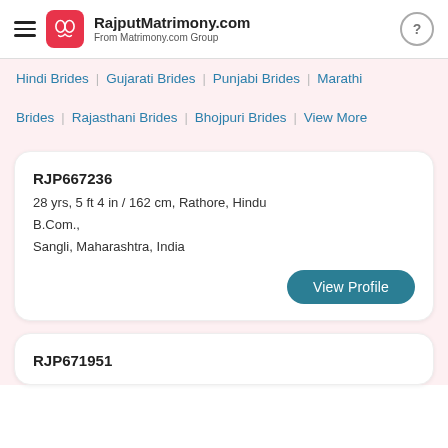RajputMatrimony.com From Matrimony.com Group
Hindi Brides | Gujarati Brides | Punjabi Brides | Marathi
Brides | Rajasthani Brides | Bhojpuri Brides | View More
RJP667236
28 yrs, 5 ft 4 in / 162 cm, Rathore, Hindu
B.Com.,
Sangli, Maharashtra, India
RJP671951